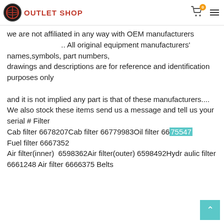OUTLET SHOP
we are not affiliated in any way with OEM manufacturers                              .. All original equipment manufacturers' names,symbols, part numbers, drawings and descriptions are for reference and identification purposes only

and it is not implied any part is that of these manufacturers....
We also stock these items send us a message and tell us your serial # Filter
Cab filter 6678207Cab filter 66779830Oil filter 6675547 Fuel filter 6667352
Air filter(inner)  6598362Air filter(outer) 6598492Hydraulic filter 6661248 Air filter 6666375 Belts